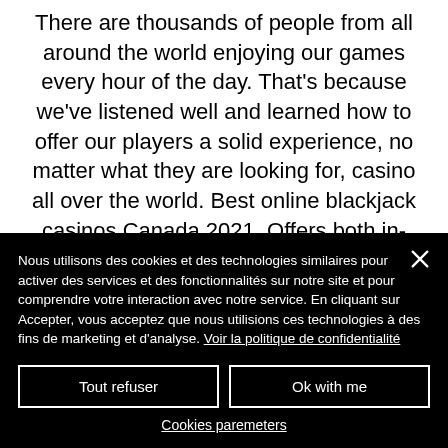There are thousands of people from all around the world enjoying our games every hour of the day. That's because we've listened well and learned how to offer our players a solid experience, no matter what they are looking for, casino all over the world. Best online blackjack casinos Canada 2021. Offers both in-browser games & download software Available on iPhone, Android, desktop
Nous utilisons des cookies et des technologies similaires pour activer des services et des fonctionnalités sur notre site et pour comprendre votre interaction avec notre service. En cliquant sur Accepter, vous acceptez que nous utilisions ces technologies à des fins de marketing et d'analyse. Voir la politique de confidentialité
Tout refuser
Ok with me
Cookies paremeters